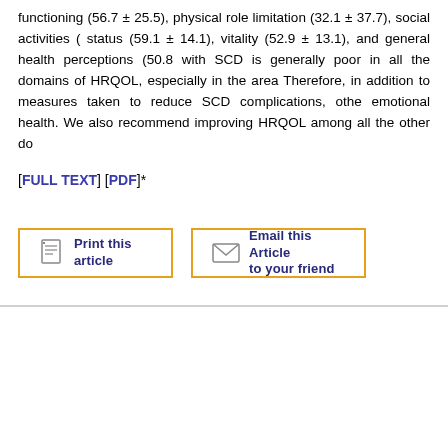functioning (56.7 ± 25.5), physical role limitation (32.1 ± 37.7), social activities (... status (59.1 ± 14.1), vitality (52.9 ± 13.1), and general health perceptions (50.8 ± ... with SCD is generally poor in all the domains of HRQOL, especially in the area... Therefore, in addition to measures taken to reduce SCD complications, othe... emotional health. We also recommend improving HRQOL among all the other do...
[FULL TEXT] [PDF]*
[Figure (other): Print this article button with document icon]
[Figure (other): Email this Article to your friend button with envelope icon]